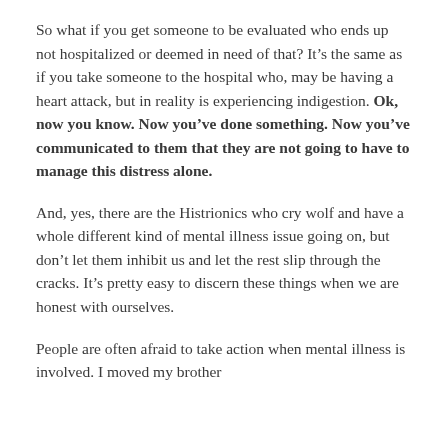So what if you get someone to be evaluated who ends up not hospitalized or deemed in need of that? It’s the same as if you take someone to the hospital who, may be having a heart attack, but in reality is experiencing indigestion. Ok, now you know. Now you’ve done something. Now you’ve communicated to them that they are not going to have to manage this distress alone.
And, yes, there are the Histrionics who cry wolf and have a whole different kind of mental illness issue going on, but don’t let them inhibit us and let the rest slip through the cracks. It’s pretty easy to discern these things when we are honest with ourselves.
People are often afraid to take action when mental illness is involved. I moved my brother